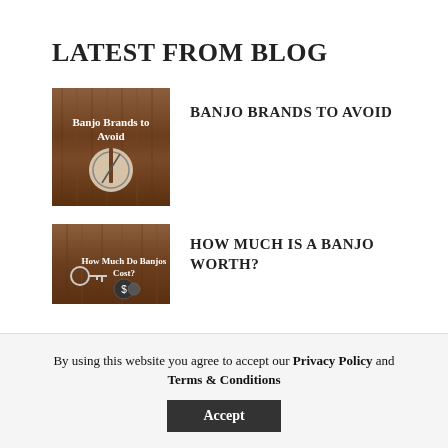LATEST FROM BLOG
[Figure (photo): Thumbnail image for 'Banjo Brands to Avoid' blog post — wooden background with banjo silhouette and text overlay]
BANJO BRANDS TO AVOID
[Figure (photo): Thumbnail image for 'How Much Is a Banjo Worth?' blog post — wooden background with money symbols and text overlay]
HOW MUCH IS A BANJO WORTH?
By using this website you agree to accept our Privacy Policy and Terms & Conditions
Accept